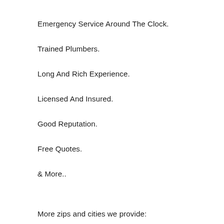Emergency Service Around The Clock.
Trained Plumbers.
Long And Rich Experience.
Licensed And Insured.
Good Reputation.
Free Quotes.
& More..
More zips and cities we provide: